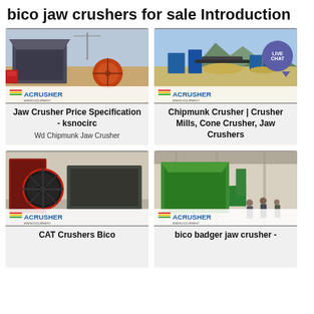bico jaw crushers for sale Introduction
[Figure (photo): Industrial jaw crusher machine photographed from above at a construction/mining site, showing the crusher body with orange flywheel, gray metal body, and red components. ACRUSHER Mining Equipment logo visible at bottom.]
[Figure (photo): Aerial view of a rock crushing plant/quarry site with mountains in background. Blue processing equipment and conveyors visible. ACRUSHER Mining Equipment logo at bottom. Live Chat bubble in top right corner.]
Jaw Crusher Price Specification - ksnocirc
Wd Chipmunk Jaw Crusher
Chipmunk Crusher | Crusher Mills, Cone Crusher, Jaw Crushers
[Figure (photo): Close-up of a jaw crusher showing large black flywheel/pulley wheels, red metal body frame, inside a workshop or industrial building. ACRUSHER Mining Equipment logo at bottom.]
[Figure (photo): Workers in a factory/assembly hall examining a large green jaw crusher machine. ACRUSHER Mining Equipment logo at bottom.]
CAT Crushers Bico
bico badger jaw crusher -